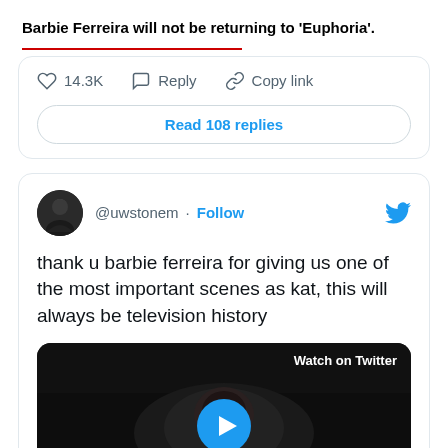Barbie Ferreira will not be returning to 'Euphoria'.
14.3K   Reply   Copy link
Read 108 replies
@uwstonem · Follow
thank u barbie ferreira for giving us one of the most important scenes as kat, this will always be television history
[Figure (screenshot): Video thumbnail with 'Watch on Twitter' label and a blue play button, showing a dark scene]